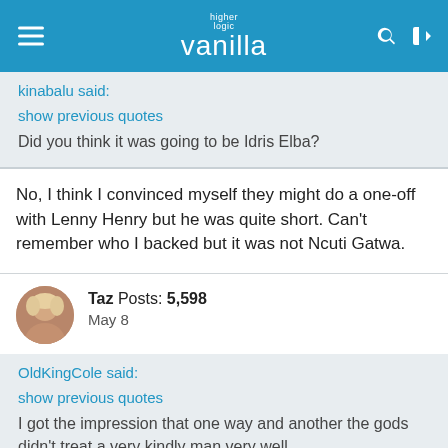higher logic vanilla
kinabalu said:
show previous quotes
Did you think it was going to be Idris Elba?
No, I think I convinced myself they might do a one-off with Lenny Henry but he was quite short. Can't remember who I backed but it was not Ncuti Gatwa.
Taz  Posts: 5,598
May 8
OldKingCole said:
show previous quotes
I got the impression that one way and another the gods didn't treat a very kindly man very well.